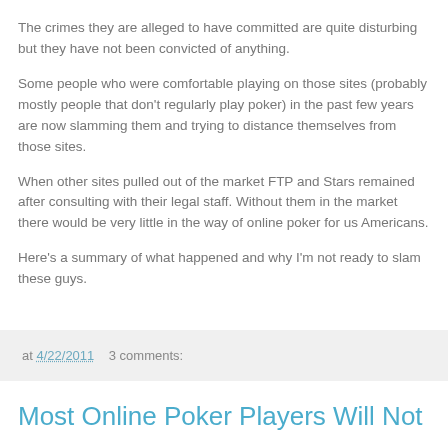The crimes they are alleged to have committed are quite disturbing but they have not been convicted of anything.
Some people who were comfortable playing on those sites (probably mostly people that don't regularly play poker) in the past few years are now slamming them and trying to distance themselves from those sites.
When other sites pulled out of the market FTP and Stars remained after consulting with their legal staff. Without them in the market there would be very little in the way of online poker for us Americans.
Here's a summary of what happened and why I'm not ready to slam these guys.
at 4/22/2011    3 comments:
Most Online Poker Players Will Not